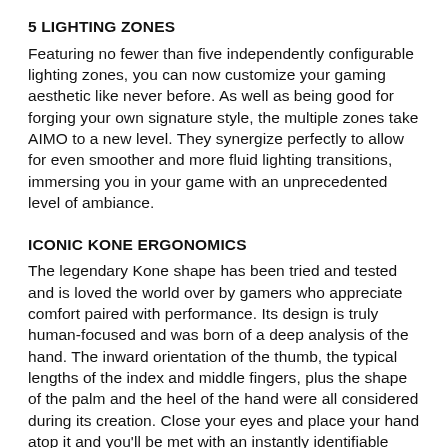5 LIGHTING ZONES
Featuring no fewer than five independently configurable lighting zones, you can now customize your gaming aesthetic like never before. As well as being good for forging your own signature style, the multiple zones take AIMO to a new level. They synergize perfectly to allow for even smoother and more fluid lighting transitions, immersing you in your game with an unprecedented level of ambiance.
ICONIC KONE ERGONOMICS
The legendary Kone shape has been tried and tested and is loved the world over by gamers who appreciate comfort paired with performance. Its design is truly human-focused and was born of a deep analysis of the hand. The inward orientation of the thumb, the typical lengths of the index and middle fingers, plus the shape of the palm and the heel of the hand were all considered during its creation. Close your eyes and place your hand atop it and you'll be met with an instantly identifiable form. AIMO